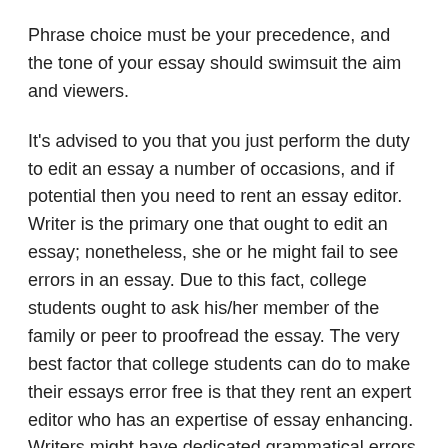Phrase choice must be your precedence, and the tone of your essay should swimsuit the aim and viewers.
It's advised to you that you just perform the duty to edit an essay a number of occasions, and if potential then you need to rent an essay editor. Writer is the primary one that ought to edit an essay; nonetheless, she or he might fail to see errors in an essay. Due to this fact, college students ought to ask his/her member of the family or peer to proofread the essay. The very best factor that college students can do to make their essays error free is that they rent an expert editor who has an expertise of essay enhancing. Writers might have dedicated grammatical errors or might have wrongly used tenses, punctuations, spellings, and tone. All the essay errors could be eradicated if college students rent an expert editor.